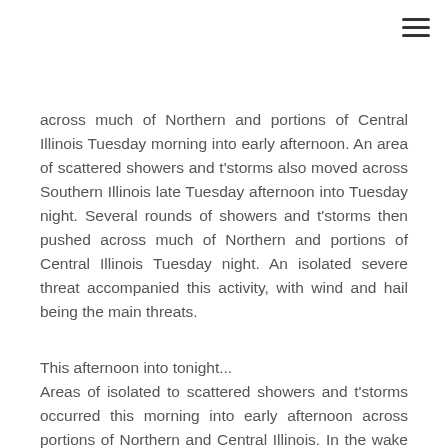across much of Northern and portions of Central Illinois Tuesday morning into early afternoon. An area of scattered showers and t'storms also moved across Southern Illinois late Tuesday afternoon into Tuesday night. Several rounds of showers and t'storms then pushed across much of Northern and portions of Central Illinois Tuesday night. An isolated severe threat accompanied this activity, with wind and hail being the main threats.
This afternoon into tonight...
Areas of isolated to scattered showers and t'storms occurred this morning into early afternoon across portions of Northern and Central Illinois. In the wake of early activity, additional scattered shower and t'storm develop will occur this afternoon, in the